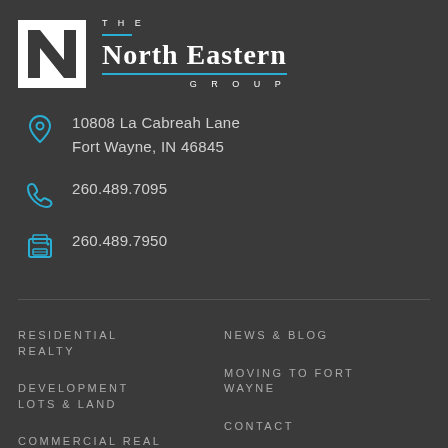[Figure (logo): The North Eastern Group logo with N icon and text]
10808 La Cabreah Lane
Fort Wayne, IN 46845
260.489.7095
260.489.7950
RESIDENTIAL REALTY
DEVELOPMENT LOTS & LAND
COMMERCIAL REAL ESTATE
NEWS & BLOG
MOVING TO FORT WAYNE
CONTACT
PRIVACY POLICY